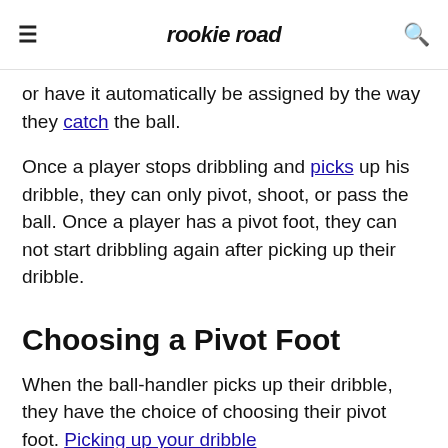rookie road
or have it automatically be assigned by the way they catch the ball.
Once a player stops dribbling and picks up his dribble, they can only pivot, shoot, or pass the ball. Once a player has a pivot foot, they can not start dribbling again after picking up their dribble.
Choosing a Pivot Foot
When the ball-handler picks up their dribble, they have the choice of choosing their pivot foot. Picking up your dribble